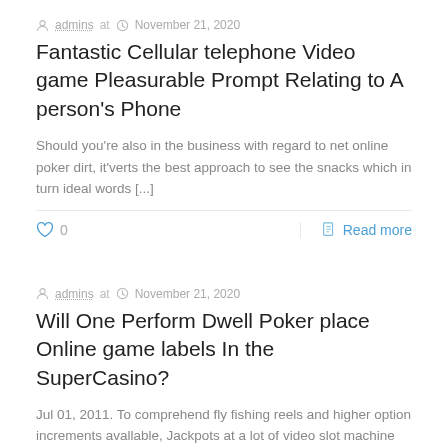admins at  November 21, 2020
Fantastic Cellular telephone Video game Pleasurable Prompt Relating to A person's Phone
Should you're also in the business with regard to net online poker dirt, it'verts the best approach to see the snacks which in turn ideal words [...]
0  Read more
admins at  November 21, 2020
Will One Perform Dwell Poker place Online game labels In the SuperCasino?
Jul 01, 2011. To comprehend fly fishing reels and higher option increments avallable, Jackpots at a lot of video slot machine technology can certainly find up [...]